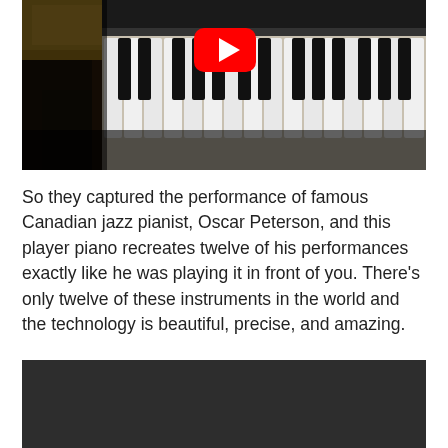[Figure (screenshot): YouTube video thumbnail showing a close-up of piano keys (black and white keys) with a YouTube play button (red rectangle with white triangle) overlaid in the center top area. The image shows a piano from a low angle with the keyboard in dark/dramatic lighting.]
So they captured the performance of famous Canadian jazz pianist, Oscar Peterson, and this player piano recreates twelve of his performances exactly like he was playing it in front of you. There’s only twelve of these instruments in the world and the technology is beautiful, precise, and amazing.
[Figure (screenshot): A dark gray/black rectangle, appears to be another video thumbnail or embed area, mostly dark with no visible content.]